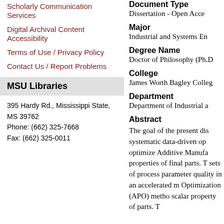Scholarly Communication Services
Digital Archival Content Accessibility
Terms of Use / Privacy Policy
Contact Us / Report Problems
MSU Libraries
395 Hardy Rd., Mississippi State, MS 39762
Phone: (662) 325-7668
Fax: (662) 325-0011
Document Type
Dissertation - Open Access
Major
Industrial and Systems En
Degree Name
Doctor of Philosophy (Ph.D
College
James Worth Bagley College
Department
Department of Industrial a
Abstract
The goal of the present dis systematic data-driven op optimize Additive Manufa properties of final parts. T sets of process parameter quality in an accelerated m Optimization (APO) metho scalar property of parts. T